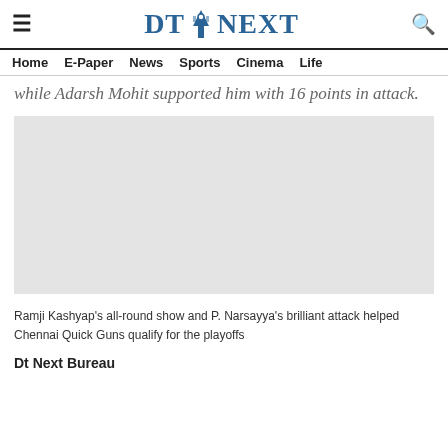DT NEXT — Home | E-Paper | News | Sports | Cinema | Life
while Adarsh Mohit supported him with 16 points in attack.
[Figure (photo): Image area showing Chennai Quick Guns kabaddi match (blank/placeholder area)]
Ramji Kashyap's all-round show and P. Narsayya's brilliant attack helped Chennai Quick Guns qualify for the playoffs
Dt Next Bureau